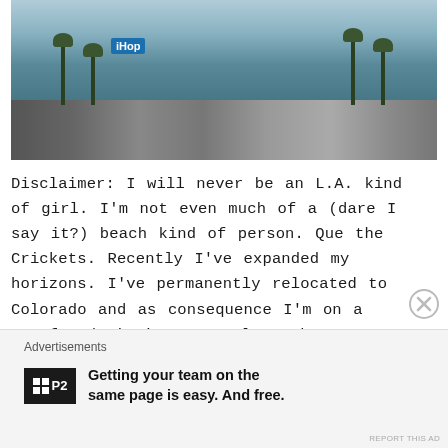[Figure (photo): Street scene photo showing an urban commercial strip with palm trees, an IHOP sign, power lines, and storefronts under an overcast sky.]
Disclaimer: I will never be an L.A. kind of girl. I'm not even much of a (dare I say it?) beach kind of person. Que the Crickets. Recently I've expanded my horizons. I've permanently relocated to Colorado and as consequence I'm on a new.found.mission to explore the West. Needless to say when round trip airfare to [...]
Advertisements
[Figure (logo): P2 advertisement logo with grid icon and text: Getting your team on the same page is easy. And free.]